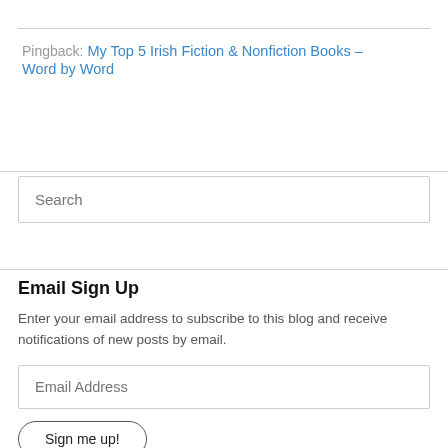Pingback: My Top 5 Irish Fiction & Nonfiction Books – Word by Word
Search
Email Sign Up
Enter your email address to subscribe to this blog and receive notifications of new posts by email.
Email Address
Sign me up!